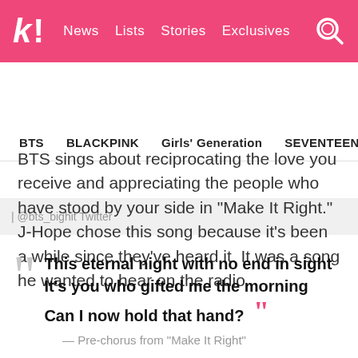k! News Lists Stories Exclusives
BTS BLACKPINK Girls' Generation SEVENTEEN TWICE
| @bts_bighit Twitter
BTS sings about reciprocating the love you receive and appreciating the people who have stood by your side in “Make It Right.” J-Hope chose this song because it’s been a while since they’ve heard it. It was a song he wanted to hear on the radio.
““This eternal night with no end in sight It’s you who gifted me the morning Can I now hold that hand?””
— Pre-chorus from “Make It Right”